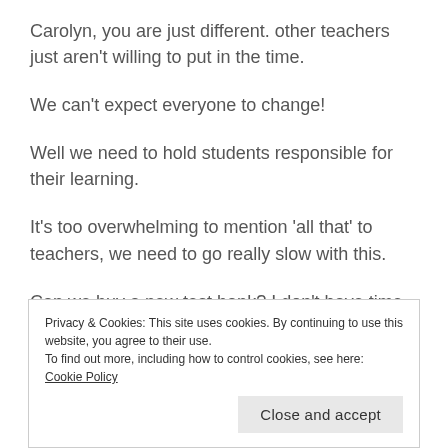Carolyn, you are just different. other teachers just aren't willing to put in the time.
We can't expect everyone to change!
Well we need to hold students responsible for their learning.
It's too overwhelming to mention 'all that' to teachers, we need to go really slow with this.
Can we buy a new test bank? I don't have time to
Privacy & Cookies: This site uses cookies. By continuing to use this website, you agree to their use.
To find out more, including how to control cookies, see here: Cookie Policy
Close and accept